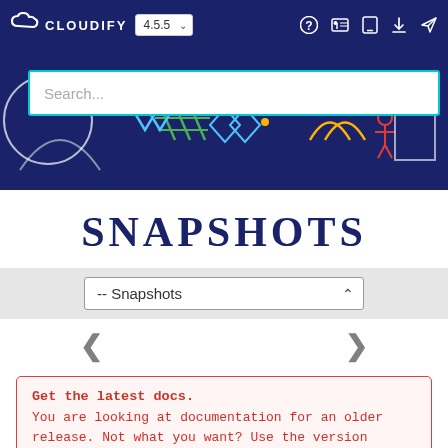CLOUDIFY 4.5.5
[Figure (screenshot): Cloudify documentation site banner with decorative geometric/network background graphics in blue, green, yellow, red on dark navy background, with a search box overlay reading 'Search...']
SNAPSHOTS
-- Snapshots
< >
Get the latest docs. You are looking at documentation for an older release. Not what you want? Use the version selector on the top banner or click here.